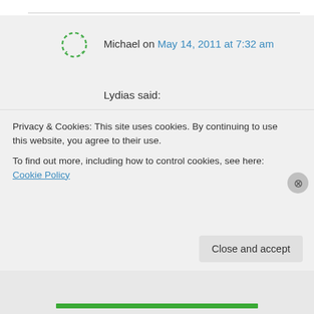Michael on May 14, 2011 at 7:32 am
Lydias said:

“they’re complaining that she just had a man arrested and charged for stalking her due to her outfits being so revealing and now she does this”

He stalked her due to her outfits being so revealing? Grow a brain
Privacy & Cookies: This site uses cookies. By continuing to use this website, you agree to their use.
To find out more, including how to control cookies, see here: Cookie Policy
Close and accept